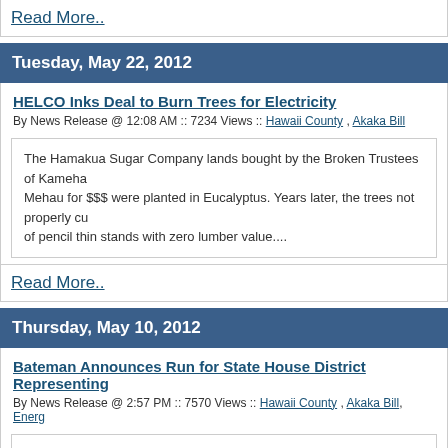Read More..
Tuesday, May 22, 2012
HELCO Inks Deal to Burn Trees for Electricity
By News Release @ 12:08 AM :: 7234 Views :: Hawaii County , Akaka Bill
The Hamakua Sugar Company lands bought by the Broken Trustees of Kamehameha Mehau for $$$ were planted in Eucalyptus. Years later, the trees not properly cu of pencil thin stands with zero lumber value....
Read More..
Thursday, May 10, 2012
Bateman Announces Run for State House District Representing
By News Release @ 2:57 PM :: 7570 Views :: Hawaii County , Akaka Bill, Energ
Bateman, a retired US Air Force Colonel (JAG), former Assistant Attorney General private practice for 30 years, now owns the Heavenly Hawaiian Coffee farm, wh years....
Read More..